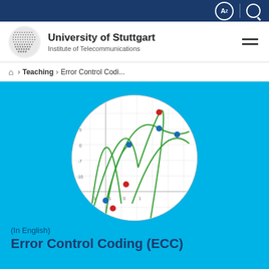University of Stuttgart — Institute of Telecommunications
Home › Teaching › Error Control Codi...
[Figure (continuous-plot): Circular cropped graph showing multiple green parabolic/polynomial curves on a white grid background with blue and red data points marked at various coordinates. Axes are visible with numeric labels.]
(In English)
Error Control Coding (ECC)